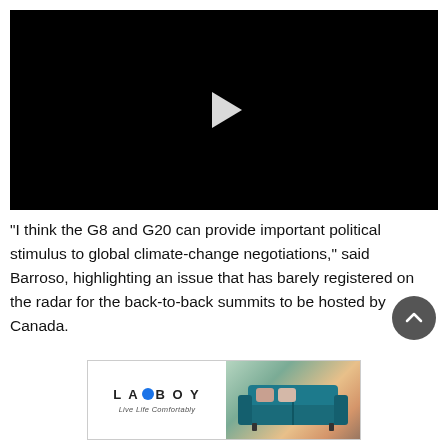[Figure (screenshot): Black video player with white play button triangle in the center]
“I think the G8 and G20 can provide important political stimulus to global climate-change negotiations,” said Barroso, highlighting an issue that has barely registered on the radar for the back-to-back summits to be hosted by Canada.
[Figure (photo): La-Z-Boy advertisement showing a teal tufted sofa/couch with pillows against a room background. Logo on the left reads LA-Z-BOY with tagline text below.]